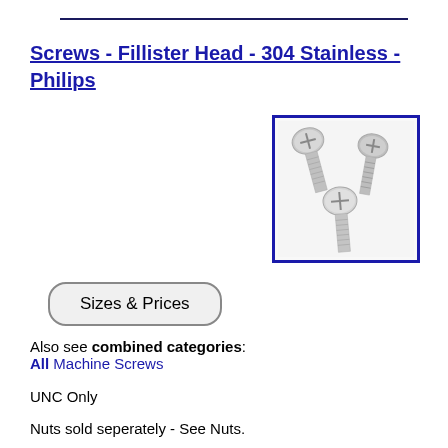Screws - Fillister Head - 304 Stainless - Philips
[Figure (photo): Three stainless steel fillister head Philips screws photographed on white background, showing the rounded heads and threaded shafts.]
Sizes & Prices
Also see combined categories: All Machine Screws
UNC Only
Nuts sold seperately - See Nuts.